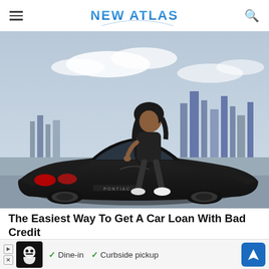NEW ATLAS
[Figure (photo): A woman sitting on the hood of a black sports car (Pontiac) with a city skyline in the background]
The Easiest Way To Get A Car Loan With Bad Credit
CarsDirect
[Figure (photo): Partially visible second article image with winter trees]
[Figure (infographic): Ad banner: logo image with checkmarks for 'Dine-in' and 'Curbside pickup' and a blue navigation arrow button]